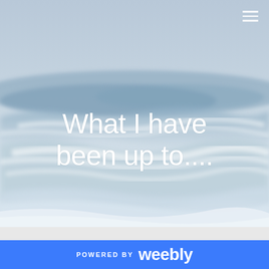[Figure (photo): Misty ocean waves with blue-grey hues, softly blurred seascape background with hamburger menu icon in top right corner]
What I have been up to....
POWERED BY weebly